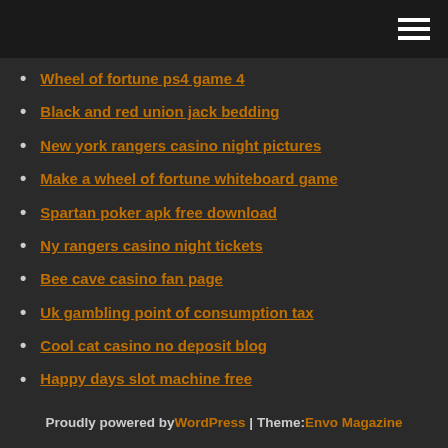[hamburger menu icon]
Wheel of fortune ps4 game 4
Black and red union jack bedding
New york rangers casino night pictures
Make a wheel of fortune whiteboard game
Spartan poker apk free download
Ny rangers casino night tickets
Bee cave casino fan page
Uk gambling point of consumption tax
Cool cat casino no deposit blog
Happy days slot machine free
Was ist ein flush poker
Proudly powered by WordPress | Theme: Envo Magazine